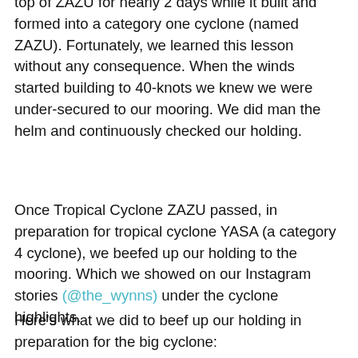top of ZAZU for nearly 2 days while it built and formed into a category one cyclone (named ZAZU). Fortunately, we learned this lesson without any consequence. When the winds started building to 40-knots we knew we were under-secured to our mooring. We did man the helm and continuously checked our holding.
Once Tropical Cyclone ZAZU passed, in preparation for tropical cyclone YASA (a category 4 cyclone), we beefed up our holding to the mooring. Which we showed on our Instagram stories (@the_wynns) under the cyclone highlights.
Here's what we did to beef up our holding in preparation for the big cyclone: